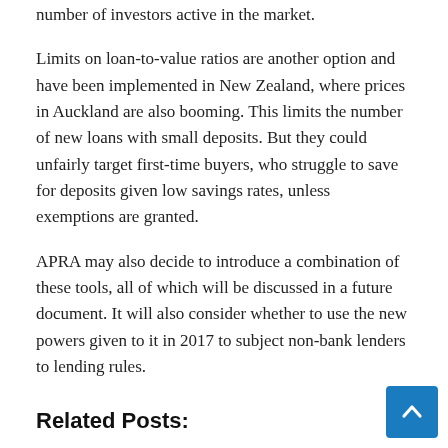number of investors active in the market.
Limits on loan-to-value ratios are another option and have been implemented in New Zealand, where prices in Auckland are also booming. This limits the number of new loans with small deposits. But they could unfairly target first-time buyers, who struggle to save for deposits given low savings rates, unless exemptions are granted.
APRA may also decide to introduce a combination of these tools, all of which will be discussed in a future document. It will also consider whether to use the new powers given to it in 2017 to subject non-bank lenders to lending rules.
Related Posts:
Launched by bankers, this fintech startup has disbursed Rs 1,500 Cr in loans to SMEs and retailers
Biden administration will make it easier for student loan borrowers to get a mortgage